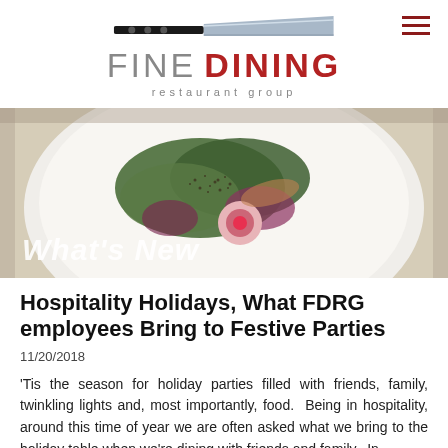FINE DINING restaurant group
[Figure (photo): Hero image of a gourmet salad dish on a white plate with 'What's New' text overlay]
Hospitality Holidays, What FDRG employees Bring to Festive Parties
11/20/2018
'Tis the season for holiday parties filled with friends, family, twinkling lights and, most importantly, food.  Being in hospitality, around this time of year we are often asked what we bring to the holiday table when we're dining with friends and family.  In